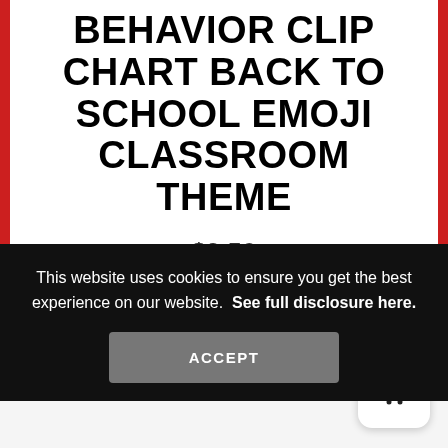BEHAVIOR CLIP CHART BACK TO SCHOOL EMOJI CLASSROOM THEME
$3.50
Total Pages: 40
File Size: 3 MB
This website uses cookies to ensure you get the best experience on our website.  See full disclosure here.
ACCEPT
♡  Add to wishlist
Category: ■ Classroom Decor Sets